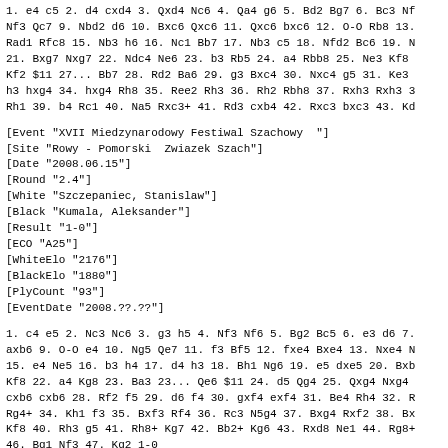1. e4 c5 2. d4 cxd4 3. Qxd4 Nc6 4. Qa4 g6 5. Bd2 Bg7 6. Bc3 Nf3 Qc7 9. Nbd2 d6 10. Bxc6 Qxc6 11. Qxc6 bxc6 12. O-O Rb8 13. Rad1 Rfc8 15. Nb3 h6 16. Nc1 Bb7 17. Nb3 c5 18. Nfd2 Bc6 19. N 21. Bxg7 Nxg7 22. Ndc4 Ne6 23. b3 Rb5 24. a4 Rbb8 25. Ne3 Kf8 Kf2 $11 27... Bb7 28. Rd2 Ba6 29. g3 Bxc4 30. Nxc4 g5 31. Ke3 h3 hxg4 34. hxg4 Rh8 35. Ree2 Rh3 36. Rh2 Rbh8 37. Rxh3 Rxh3 3 Rh1 39. b4 Rc1 40. Na5 Rxc3+ 41. Rd3 cxb4 42. Rxc3 bxc3 43. Kd
[Event "XVII Miedzynarodowy Festiwal Szachowy  "]
[Site "Rowy - Pomorski  Zwiazek Szach"]
[Date "2008.06.15"]
[Round "2.4"]
[White "Szczepaniec, Stanislaw"]
[Black "Kumala, Aleksander"]
[Result "1-0"]
[ECO "A25"]
[WhiteElo "2176"]
[BlackElo "1880"]
[PlyCount "93"]
[EventDate "2008.??.??"]
1. c4 e5 2. Nc3 Nc6 3. g3 h5 4. Nf3 Nf6 5. Bg2 Bc5 6. e3 d6 7. axb6 9. O-O e4 10. Ng5 Qe7 11. f3 Bf5 12. fxe4 Bxe4 13. Nxe4 N 15. e4 Ne5 16. b3 h4 17. d4 h3 18. Bh1 Ng6 19. e5 dxe5 20. Bxb Kf8 22. a4 Kg8 23. Ba3 23... Qe6 $11 24. d5 Qg4 25. Qxg4 Nxg4 cxb6 cxb6 28. Rf2 f5 29. d6 f4 30. gxf4 exf4 31. Be4 Rh4 32. R Rg4+ 34. Kh1 f3 35. Bxf3 Rf4 36. Rc3 N5g4 37. Bxg4 Rxf2 38. Bx Kf8 40. Rh3 g5 41. Rh8+ Kg7 42. Bb2+ Kg6 43. Rxd8 Ne1 44. Rg8+ 46. Bg1 Nf3 47. Kg2 1-0
[Event "XVII Miedzynarodowy Festiwal Szachowy  "]
[Site "Rowy - Pomorski  Zwiazek Szach"]